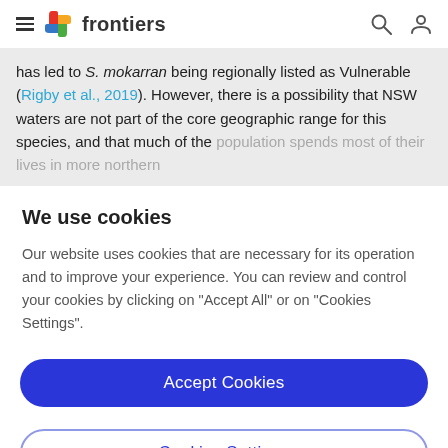frontiers
has led to S. mokarran being regionally listed as Vulnerable (Rigby et al., 2019). However, there is a possibility that NSW waters are not part of the core geographic range for this species, and that much of the population spends most of their lives in more northern
We use cookies
Our website uses cookies that are necessary for its operation and to improve your experience. You can review and control your cookies by clicking on "Accept All" or on "Cookies Settings".
Accept Cookies
Cookies Settings